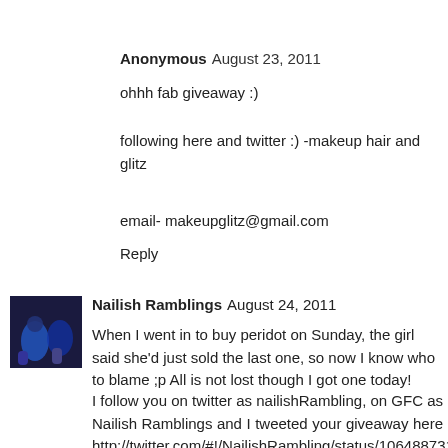Anonymous  August 23, 2011
ohhh fab giveaway :)
following here and twitter :) -makeup hair and glitz
email- makeupglitz@gmail.com
Reply
[Figure (photo): Avatar image for Nailish Ramblings showing nail polish bottles]
Nailish Ramblings  August 24, 2011
When I went in to buy peridot on Sunday, the girl said she'd just sold the last one, so now I know who to blame ;p All is not lost though I got one today!
I follow you on twitter as nailishRambling, on GFC as Nailish Ramblings and I tweeted your giveaway here http://twitter.com/#!/NailishRambling/status/106488731497803777